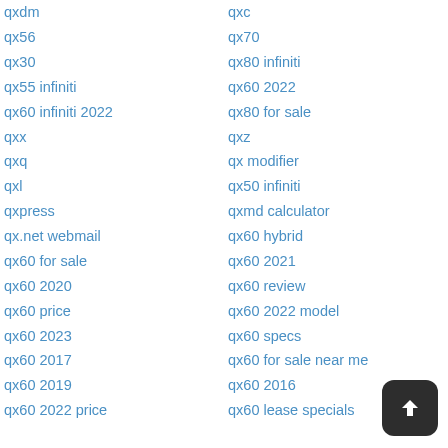qxdm
qx56
qx30
qx55 infiniti
qx60 infiniti 2022
qxx
qxq
qxl
qxpress
qx.net webmail
qx60 for sale
qx60 2020
qx60 price
qx60 2023
qx60 2017
qx60 2019
qx60 2022 price
qxc
qx70
qx80 infiniti
qx60 2022
qx80 for sale
qxz
qx modifier
qx50 infiniti
qxmd calculator
qx60 hybrid
qx60 2021
qx60 review
qx60 2022 model
qx60 specs
qx60 for sale near me
qx60 2016
qx60 lease specials